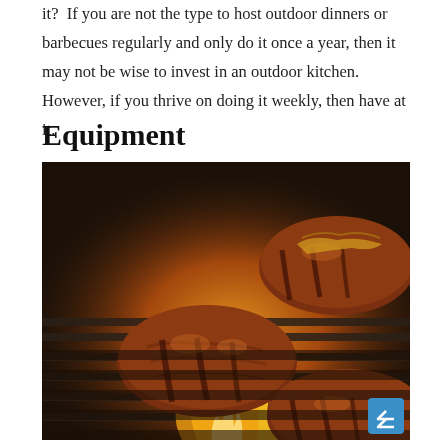it?  If you are not the type to host outdoor dinners or barbecues regularly and only do it once a year, then it may not be wise to invest in an outdoor kitchen. However, if you thrive on doing it weekly, then have at it.
Equipment
[Figure (photo): Photograph of hamburger patties grilling on a barbecue grill with open flames visible beneath the grate.]